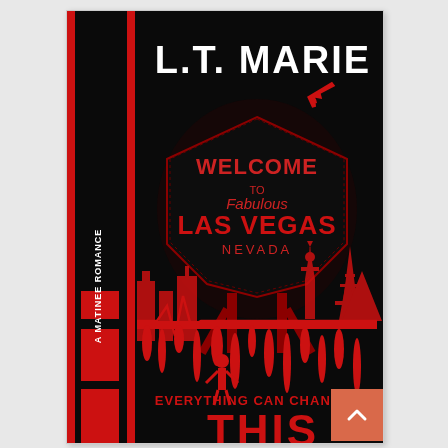[Figure (illustration): Book cover for 'Everything Can Change in This' by L.T. Marie. A Matinee Romance. Black background with red accents. Features the iconic 'Welcome to Fabulous Las Vegas Nevada' sign in dark red/black tones, a red airplane silhouette in upper right, red city skyline silhouettes including Statue of Liberty and Eiffel Tower at bottom, a heartbeat/EKG line that drips red paint at the bottom, a red human figure silhouette, red vertical stripe on left side with two red rectangles. Author name 'L.T. MARIE' in white at top. Text 'EVERYTHING CAN CHANGE IN' in red near bottom. Book title letters partially visible at very bottom. Red spine label reading 'A MATINEE ROMANCE' vertically.]